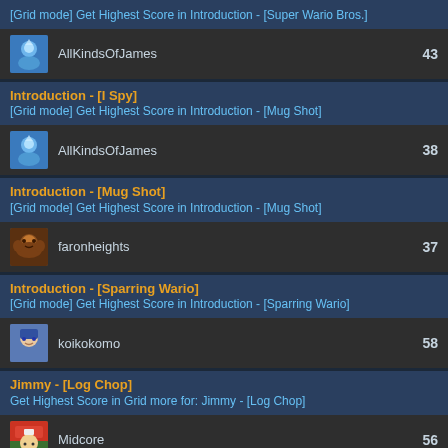[Grid mode] Get Highest Score in Introduction - [Super Wario Bros.]
AllKindsOfJames  43
Introduction - [I Spy]
[Grid mode] Get Highest Score in Introduction - [Mug Shot]
AllKindsOfJames  38
Introduction - [Mug Shot]
[Grid mode] Get Highest Score in Introduction - [Mug Shot]
faronheights  37
Introduction - [Sparring Wario]
[Grid mode] Get Highest Score in Introduction - [Sparring Wario]
koikokomo  58
Jimmy - [Log Chop]
Get Highest Score in Grid more for: Jimmy - [Log Chop]
Midcore  56
Jimmy - [Fruit Shoot]
Get Highest Score in Grid more for: Jimmy - [Fruit Shoot]
TOLUENO  88
Jimmy - [Heads Up]